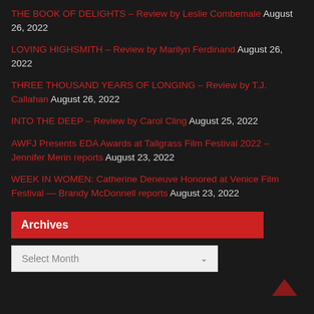THE BOOK OF DELIGHTS – Review by Leslie Combemale August 26, 2022
LOVING HIGHSMITH – Review by Marilyn Ferdinand August 26, 2022
THREE THOUSAND YEARS OF LONGING – Review by T.J. Callahan August 26, 2022
INTO THE DEEP – Review by Carol Cling August 25, 2022
AWFJ Presents EDA Awards at Tallgrass Film Festival 2022 – Jennifer Merin reports August 23, 2022
WEEK IN WOMEN: Catherine Deneuve Honored at Venice Film Festival — Brandy McDonnell reports August 23, 2022
CLAYDREAM – Review by Diane Carson August 23, 2022
Archives